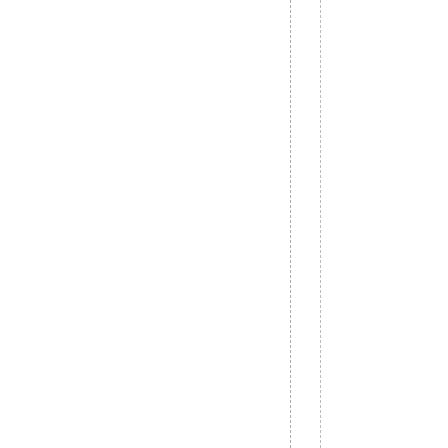ared ,your firmware was successful